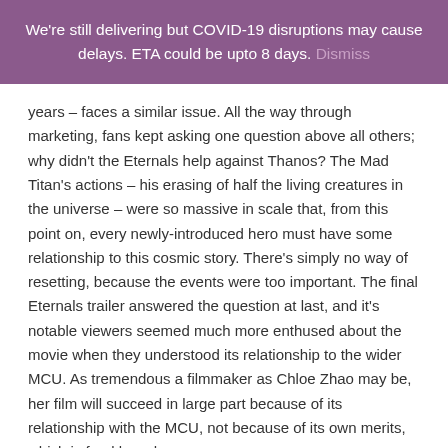We're still delivering but COVID-19 disruptions may cause delays. ETA could be upto 8 days. Dismiss
years – faces a similar issue. All the way through marketing, fans kept asking one question above all others; why didn't the Eternals help against Thanos? The Mad Titan's actions – his erasing of half the living creatures in the universe – were so massive in scale that, from this point on, every newly-introduced hero must have some relationship to this cosmic story. There's simply no way of resetting, because the events were too important. The final Eternals trailer answered the question at last, and it's notable viewers seemed much more enthused about the movie when they understood its relationship to the wider MCU. As tremendous a filmmaker as Chloe Zhao may be, her film will succeed in large part because of its relationship with the MCU, not because of its own merits, which is frankly a shame.